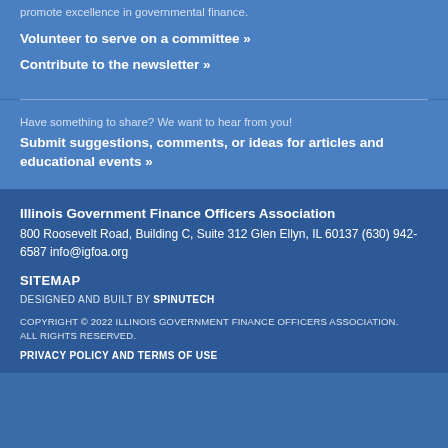promote excellence in governmental finance.
Volunteer to serve on a committee »
Contribute to the newsletter »
Have something to share? We want to hear from you!
Submit suggestions, comments, or ideas for articles and educational events »
Illinois Government Finance Officers Association
800 Roosevelt Road, Building C, Suite 312 Glen Ellyn, IL 60137 (630) 942-6587 info@igfoa.org
SITEMAP
DESIGNED AND BUILT BY SPINUTECH
COPYRIGHT © 2022 ILLINOIS GOVERNMENT FINANCE OFFICERS ASSOCIATION. ALL RIGHTS RESERVED.
PRIVACY POLICY AND TERMS OF USE